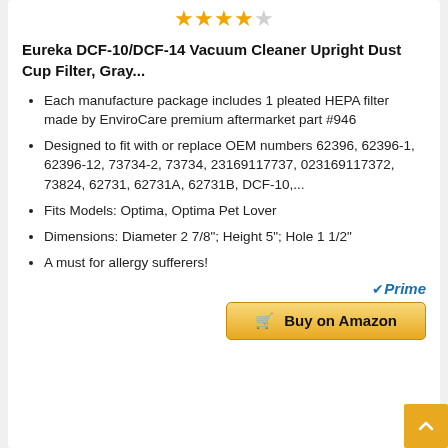[Figure (other): 4 filled gold stars and 1 empty/outline star rating]
Eureka DCF-10/DCF-14 Vacuum Cleaner Upright Dust Cup Filter, Gray...
Each manufacture package includes 1 pleated HEPA filter made by EnviroCare premium aftermarket part #946
Designed to fit with or replace OEM numbers 62396, 62396-1, 62396-12, 73734-2, 73734, 23169117372, 73824, 62731, 62731A, 62731B, DCF-10,...
Fits Models: Optima, Optima Pet Lover
Dimensions: Diameter 2 7/8"; Height 5"; Hole 1 1/2"
A must for allergy sufferers!
[Figure (logo): Amazon Prime logo with checkmark]
Buy on Amazon